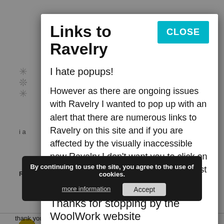Links to Ravelry
I hate popups!
However as there are ongoing issues with Ravelry I wanted to pop up with an alert that there are numerous links to Ravelry on this site and if you are affected by the visually inaccessible new Ravelry I don't want you to click on links. For more info please see my post on the front page of the website.
Thanks for stopping by the WoolWork website
Reply
louise
February 5, 2011
By continuing to use the site, you agree to the use of cookies.
more information
Accept
thank you all for the lovely comments today ????????